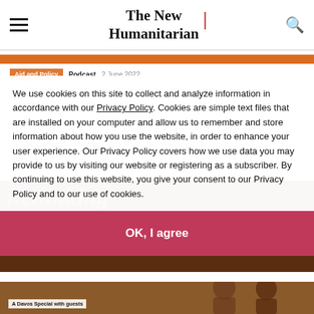The New Humanitarian
Aid and Policy   Podcast   2 June 2022
Is Ukraine a game-changer for aid and the private sector?
"Companies are realising that employees are holding you accountable"
We use cookies on this site to collect and analyze information in accordance with our Privacy Policy. Cookies are simple text files that are installed on your computer and allow us to remember and store information about how you use the website, in order to enhance your user experience. Our Privacy Policy covers how we use data you may provide to us by visiting our website or registering as a subscriber. By continuing to use this website, you give your consent to our Privacy Policy and to our use of cookies.
OK, I agree
A Davos Special with guests